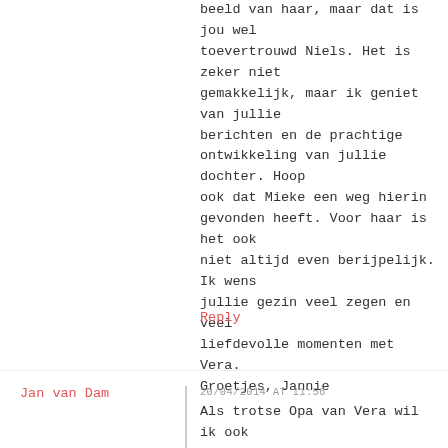beeld van haar, maar dat is jou wel toevertrouwd Niels. Het is zeker niet gemakkelijk, maar ik geniet van jullie berichten en de prachtige ontwikkeling van jullie dochter. Hoop ook dat Mieke een weg hierin gevonden heeft. Voor haar is het ook niet altijd even berijpelijk. Ik wens jullie gezin veel zegen en veel liefdevolle momenten met Vera. Groetjes, Jannie
Reply
Jan van Dam
20/04/2014 AT 11:56
Als trotse Opa van Vera wil ik ook van mijn kant alle lezers van deze website hartelijk danken voor hun betrokkenheid bij Vera, Niels